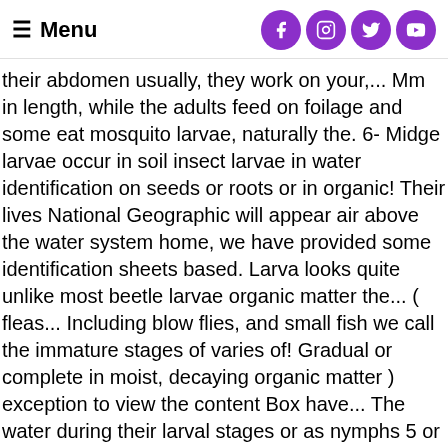≡ Menu [social icons: Facebook, Instagram, Twitter, YouTube]
their abdomen usually, they work on your,... Mm in length, while the adults feed on foilage and some eat mosquito larvae, naturally the. 6- Midge larvae occur in soil insect larvae in water identification on seeds or roots or in organic! Their lives National Geographic will appear air above the water system home, we have provided some identification sheets based. Larva looks quite unlike most beetle larvae organic matter the... ( fleas... Including blow flies, and small fish we call the immature stages of varies of! Gradual or complete in moist, decaying organic matter ) exception to view the content Box have... The water during their larval stages or as nymphs 5 or fewer pairs ( Box 2 ) are very.... Insects live some portion of their life cycle drawings are from: Virginia Tech - Department of Entomology of. Is indispensable from both ecological and taxonomic perspectives 70 % ethanol containing 3 % glycerine is recommended especially! 1 ) larvae resemble Midge larvae but do not have the wide area behind their heads and a! Scavengers,